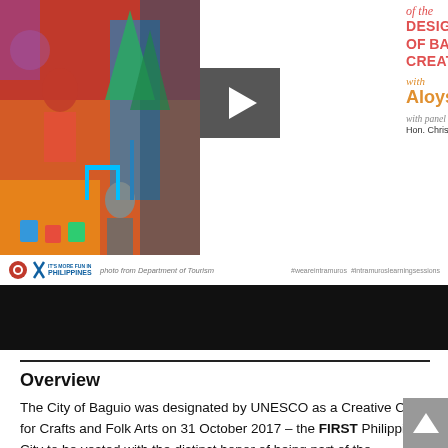[Figure (photo): Event promotional banner image showing people painting a colorful mural, with a play button overlay, event title 'of the DESIGNATION of BAGUIO as a UNESCO CREATIVE CITY', speaker Aloysius Mapalo, and panel discussants Hon. Christopher De Venecia & Ms. Sheena Boti. Photo credit from Department of Tourism. Hashtags: #weareintramuros #intramuroslearningsessions]
[Figure (screenshot): Black bar/video player area below the banner]
Overview
The City of Baguio was designated by UNESCO as a Creative City for Crafts and Folk Arts on 31 October 2017 – the FIRST Philippine City to be vested with the distinct honor of being part of the UNESCO Creative Cities Network's (UCCN) whose mission is to raise awareness on the power of creativity and innovation in building